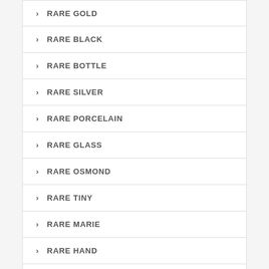RARE GOLD
RARE BLACK
RARE BOTTLE
RARE SILVER
RARE PORCELAIN
RARE GLASS
RARE OSMOND
RARE TINY
RARE MARIE
RARE HAND